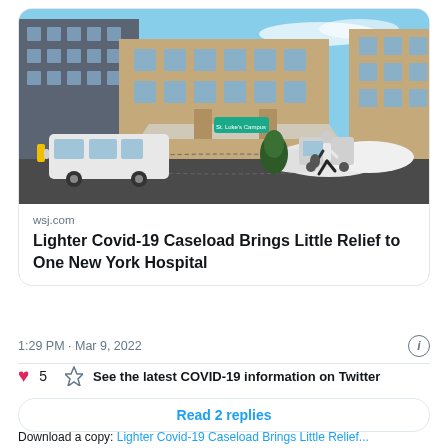[Figure (photo): Exterior of a hospital building in winter, with a white shuttle bus parked outside, a person walking across the entrance driveway, and snow piled up near the entrance. The building has large glass windows and a covered entrance canopy.]
wsj.com
Lighter Covid-19 Caseload Brings Little Relief to One New York Hospital
1:29 PM · Mar 9, 2022
5  See the latest COVID-19 information on Twitter
Read 2 replies
Download a copy: Lighter Covid-19 Caseload Brings Little Relief...